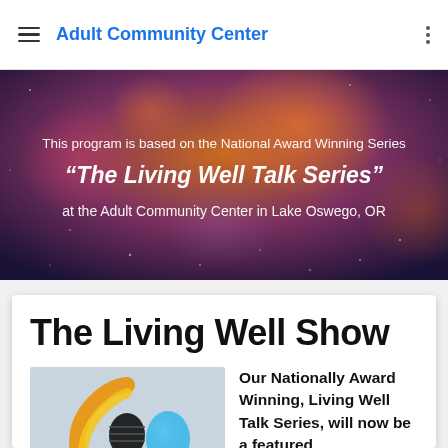Adult Community Center
[Figure (illustration): Hero banner with dark orange and purple bokeh/galaxy background. Text overlay reads: 'This program is based on the National Award Winning Series "The Living Well Talk Series" at the Adult Community Center in Lake Oswego, OR']
The Living Well Show
[Figure (illustration): Colorful logo with microphone and orange/blue/yellow abstract shapes on a light gray background]
Our Nationally Award Winning, Living Well Talk Series, will now be a featured